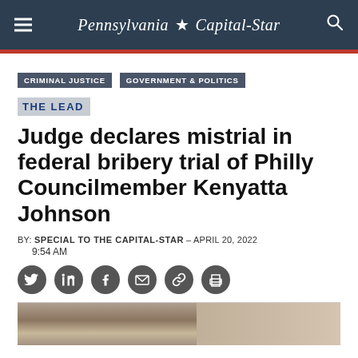Pennsylvania Capital-Star
CRIMINAL JUSTICE   GOVERNMENT & POLITICS
THE LEAD
Judge declares mistrial in federal bribery trial of Philly Councilmember Kenyatta Johnson
BY: SPECIAL TO THE CAPITAL-STAR – APRIL 20, 2022
9:54 AM
[Figure (other): Social sharing icons: Twitter, LinkedIn, Facebook, Email, Link, Print]
[Figure (photo): Partial photograph at bottom of page]